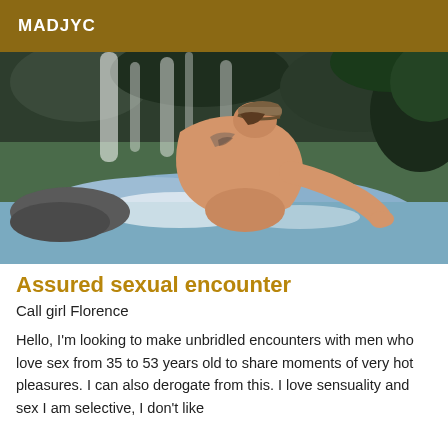MADJYC
[Figure (photo): Person with tattoo on back and cap, leaning over rocks near a waterfall in a forested area]
Assured sexual encounter
Call girl Florence
Hello, I'm looking to make unbridled encounters with men who love sex from 35 to 53 years old to share moments of very hot pleasures. I can also derogate from this. I love sensuality and sex I am selective, I don't like